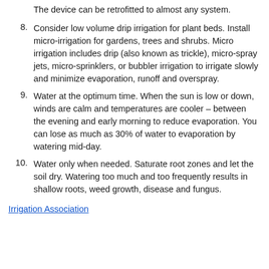The device can be retrofitted to almost any system.
8. Consider low volume drip irrigation for plant beds. Install micro-irrigation for gardens, trees and shrubs. Micro irrigation includes drip (also known as trickle), micro-spray jets, micro-sprinklers, or bubbler irrigation to irrigate slowly and minimize evaporation, runoff and overspray.
9. Water at the optimum time. When the sun is low or down, winds are calm and temperatures are cooler – between the evening and early morning to reduce evaporation. You can lose as much as 30% of water to evaporation by watering mid-day.
10. Water only when needed. Saturate root zones and let the soil dry. Watering too much and too frequently results in shallow roots, weed growth, disease and fungus.
Irrigation Association